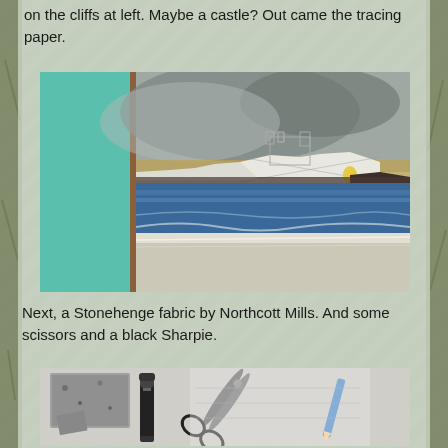on the cliffs at left. Maybe a castle? Out came the tracing paper.
[Figure (photo): A painting in progress showing a coastal scene with cliffs, a castle sketched in pencil on tracing paper overlay, stormy sky, blue sea water and sandy beach foreground. A teal/green fabric or paper is visible on the left side with a wooden frame.]
Next, a Stonehenge fabric by Northcott Mills. And some scissors and a black Sharpie.
[Figure (photo): Flat lay photo showing crafting supplies on a table: a black Sharpie marker, a pair of scissors, fabric pieces including a Stonehenge fabric with stone texture, and other paper or fabric items partially visible.]